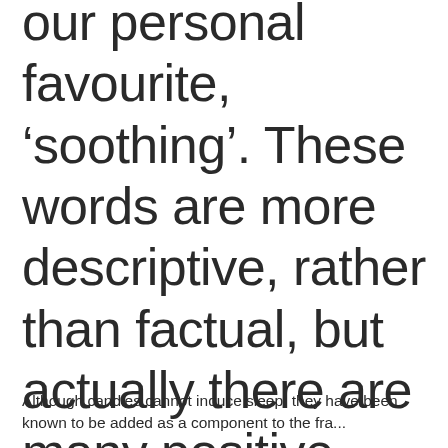our personal favourite, 'soothing'. These words are more descriptive, rather than factual, but actually there are many positive effects to burning candles before you sleep.
Although candles cannot induce sleep, they have been known to be added as a component to the fra...